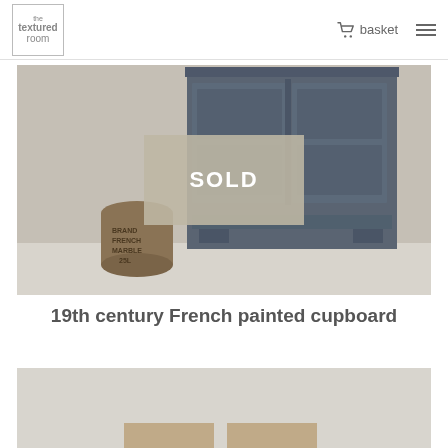the textured room — basket
[Figure (photo): A 19th century French painted cupboard in dark grey/blue paint finish, with a SOLD overlay banner. A decorative cylindrical drum/canister sits beside the cupboard on the floor.]
19th century French painted cupboard
[Figure (photo): Partial view of a second product image, light grey background with a hint of a furniture piece at the bottom.]